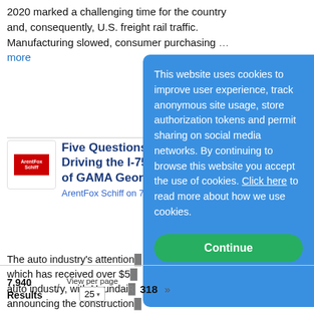2020 marked a challenging time for the country and, consequently, U.S. freight rail traffic. Manufacturing slowed, consumer purchasing...more
[Figure (logo): ArentFox Schiff company logo — red rectangle with white text]
Five Questions, Driving the I-75 of GAMA Georg
ArentFox Schiff on 7/27/20
The auto industry's attention which has received over $5 auto industry, with Hyundai announcing the construction manufacturing...more
This website uses cookies to improve user experience, track anonymous site usage, store authorization tokens and permit sharing on social media networks. By continuing to browse this website you accept the use of cookies. Click here to read more about how we use cookies.
Continue
7,940 Results   View per page  25  /  318  »